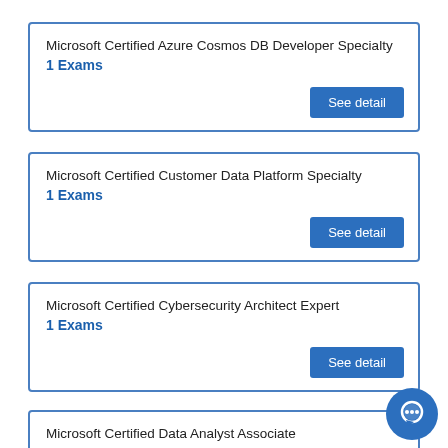Microsoft Certified Azure Cosmos DB Developer Specialty
1 Exams
See detail
Microsoft Certified Customer Data Platform Specialty
1 Exams
See detail
Microsoft Certified Cybersecurity Architect Expert
1 Exams
See detail
Microsoft Certified Data Analyst Associate
0 Exams